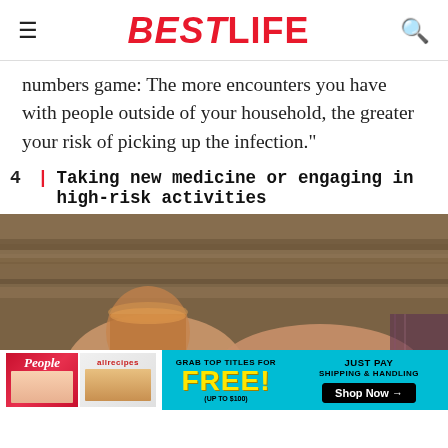BESTLIFE
numbers game: The more encounters you have with people outside of your household, the greater your risk of picking up the infection."
4 | Taking new medicine or engaging in high-risk activities
[Figure (photo): Two hands on a wooden surface — one holding a glass of whiskey/alcohol, the other holding a palm full of white pills/tablets]
[Figure (infographic): Advertisement banner: Grab top titles for FREE (up to $100) — Just pay shipping & handling. Shop Now arrow button. Features People and allrecipes magazine covers.]